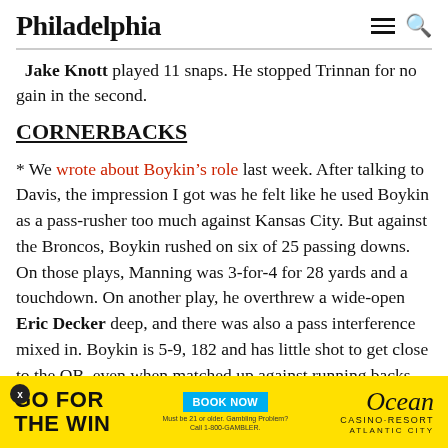Philadelphia
Jake Knott played 11 snaps. He stopped Trinnan for no gain in the second.
CORNERBACKS
* We wrote about Boykin's role last week. After talking to Davis, the impression I got was he felt like he used Boykin as a pass-rusher too much against Kansas City. But against the Broncos, Boykin rushed on six of 25 passing downs. On those plays, Manning was 3-for-4 for 28 yards and a touchdown. On another play, he overthrew a wide-open Eric Decker deep, and there was also a pass interference mixed in. Boykin is 5-9, 182 and has little shot to get close to the QB, even when matched up against running backs. When he was used in the outside linebacker-type role, the Broncos ran right at
[Figure (other): Advertisement banner for Ocean Casino Resort with yellow background. Text reads GO FOR THE WIN with BOOK NOW button and Ocean Casino-Resort Atlantic City logo.]